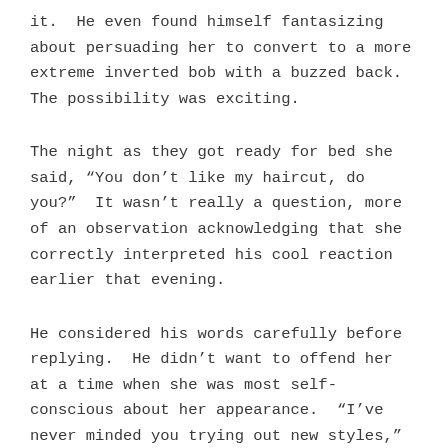it.  He even found himself fantasizing about persuading her to convert to a more extreme inverted bob with a buzzed back.  The possibility was exciting.
The night as they got ready for bed she said, “You don’t like my haircut, do you?”  It wasn’t really a question, more of an observation acknowledging that she correctly interpreted his cool reaction earlier that evening.
He considered his words carefully before replying.  He didn’t want to offend her at a time when she was most self-conscious about her appearance.  “I’ve never minded you trying out new styles,” he began cautiously, “but I thought